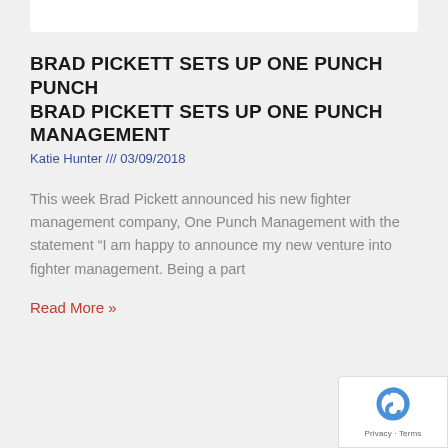BRAD PICKETT SETS UP ONE PUNCH MANAGEMENT
Katie Hunter /// 03/09/2018
This week Brad Pickett announced his new fighter management company, One Punch Management with the statement “I am happy to announce my new venture into fighter management. Being a part
Read More »